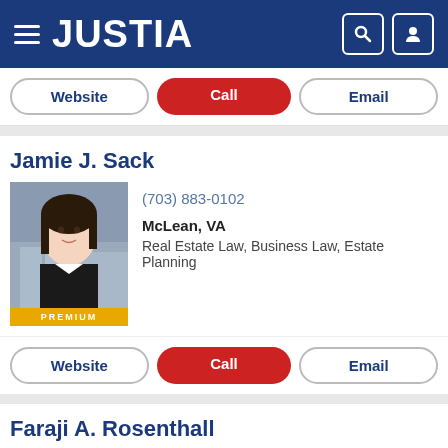JUSTIA
Website | Call | Email
Jamie J. Sack
[Figure (photo): Professional headshot of Jamie J. Sack, attorney, with PREMIUM badge]
(703) 883-0102
McLean, VA
Real Estate Law, Business Law, Estate Planning
Website | Call | Email
Faraji A. Rosenthall
[Figure (photo): Professional headshot of Faraji A. Rosenthall, attorney]
(703) 934-0101
Fairfax, VA
Criminal Law, Domestic Violence, DUI & DWI, P...